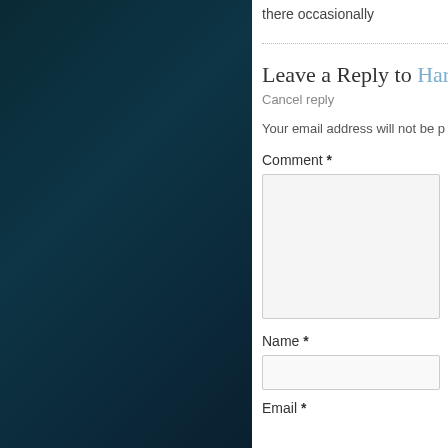there occasionally
Leave a Reply to Harl
Cancel reply
Your email address will not be p
Comment *
[Figure (other): Comment text area input box]
Name *
[Figure (other): Name text input box]
Email *